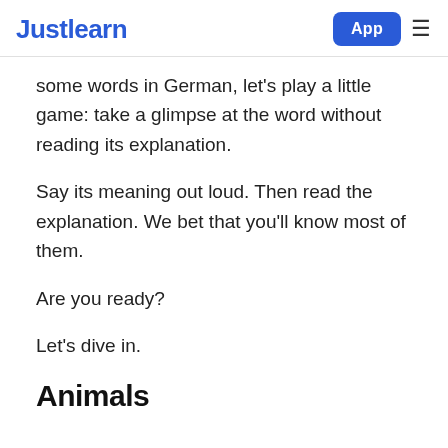Justlearn  App  ≡
some words in German, let's play a little game: take a glimpse at the word without reading its explanation.
Say its meaning out loud. Then read the explanation. We bet that you'll know most of them.
Are you ready?
Let's dive in.
Animals